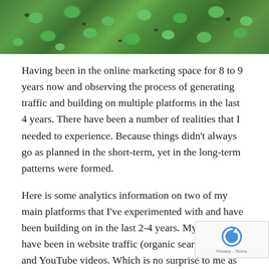[Figure (photo): Close-up photo of green clover or moss-like foliage covering the entire frame]
Having been in the online marketing space for 8 to 9 years now and observing the process of generating traffic and building on multiple platforms in the last 4 years. There have been a number of realities that I needed to experience. Because things didn't always go as planned in the short-term, yet in the long-term patterns were formed.
Here is some analytics information on two of my main platforms that I've experimented with and have been building on in the last 2-4 years. My successes have been in website traffic (organic search terms) and YouTube videos. Which is no surprise to me as writing and visual communication are my greatest strengths (when it comes to content creation) and what I have honed the most in the past few years. Both the website and YouTube ch were part-time projects where I could experiment, learn